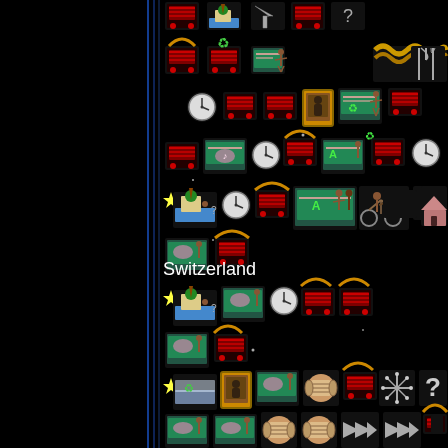[Figure (screenshot): Screenshot of a Civilization-style strategy game showing a technology/trade tree with pixel art icons on a black background. Icons represent various game units and concepts including shopping carts, green chalkboards with figures, clocks, chain links, beach scenes, and other game elements arranged in a grid pattern. The upper portion shows multiple rows of game icons. A 'Switzerland' country label appears in the middle of the screen. Below the label are more rows of game icons including beach scenes, chalkboards, shopping carts, scrolls, arrows, and other game elements. The left portion of the screen is a dark panel with blue vertical lines.]